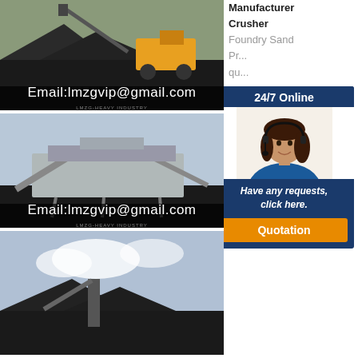[Figure (photo): Industrial crusher/mining equipment with yellow wheel loader and conveyor belt, black material piles, email overlay 'Email:lmzgvip@gmail.com']
[Figure (photo): Large mobile screening/crushing plant with conveyor belts on construction/mining site, email overlay 'Email:lmzgvip@gmail.com']
[Figure (photo): Mining conveyor equipment against sky with material stockpiles]
Manufacturer Crusher Foundry Sand Pr... qu... ma... DISAMATIC Vertical Green Moulding & DI... Ve... Ma... DI... is a green sand DISAMATIC Vertical Green Sand Moulding Machines DISA vertical green sand
[Figure (infographic): 24/7 Online chat widget with customer service representative photo, text 'Have any requests, click here.' and orange Quotation button]